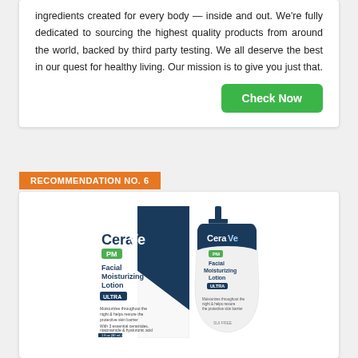ingredients created for every body — inside and out. We're fully dedicated to sourcing the highest quality products from around the world, backed by third party testing. We all deserve the best in our quest for healthy living. Our mission is to give you just that.
Check Now
RECOMMENDATION NO. 6
[Figure (photo): CeraVe PM Facial Moisturizing Lotion product shot showing box and bottle side by side]